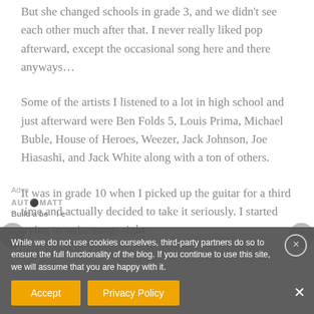But she changed schools in grade 3, and we didn't see each other much after that. I never really liked pop afterward, except the occasional song here and there anyways...
Some of the artists I listened to a lot in high school and just afterward were Ben Folds 5, Louis Prima, Michael Buble, House of Heroes, Weezer, Jack Johnson, Joe Hiasashi, and Jack White along with a ton of others.
It was in grade 10 when I picked up the guitar for a third time and actually decided to take it seriously. I started trying to write songs right
While we do not use cookies ourselves, third-party partners do so to ensure the full functionality of the blog. If you continue to use this site, we will assume that you are happy with it.